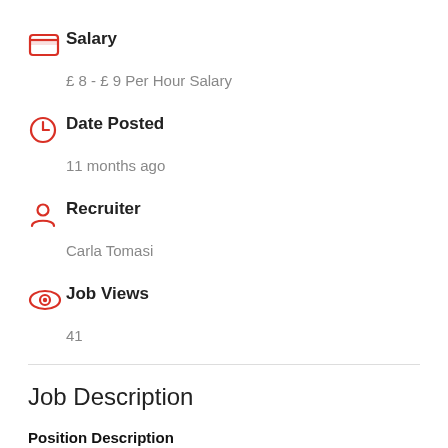Salary
£ 8 - £ 9 Per Hour Salary
Date Posted
11 months ago
Recruiter
Carla Tomasi
Job Views
41
Job Description
Position Description
Join us and you'll become part of a crew, or a team, that